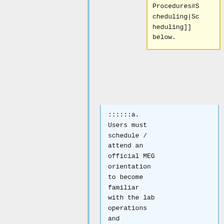Procedures#Scheduling|Scheduling]] below.
::::::a. Users must schedule / attend an official MEG orientation to become familiar with the lab operations and equipment. '''Any personnel present in the MEG laboratory